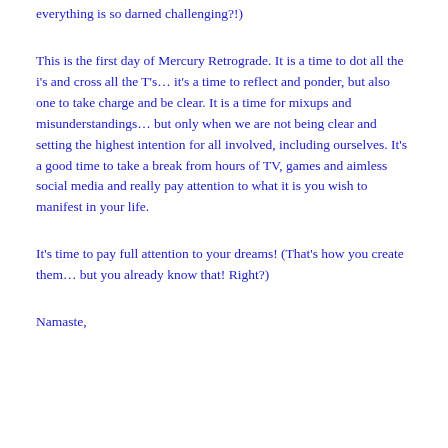everything is so darned challenging?!)
This is the first day of Mercury Retrograde. It is a time to dot all the i's and cross all the T's… it's a time to reflect and ponder, but also one to take charge and be clear. It is a time for mixups and misunderstandings… but only when we are not being clear and setting the highest intention for all involved, including ourselves. It's a good time to take a break from hours of TV, games and aimless social media and really pay attention to what it is you wish to manifest in your life.
It's time to pay full attention to your dreams! (That's how you create them… but you already know that! Right?)
Namaste,